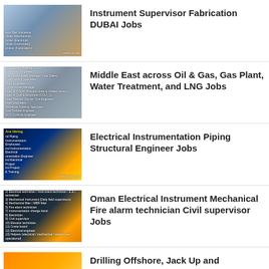Instrument Supervisor Fabrication DUBAI Jobs
Middle East across Oil & Gas, Gas Plant, Water Treatment, and LNG Jobs
Electrical Instrumentation Piping Structural Engineer Jobs
Oman Electrical Instrument Mechanical Fire alarm technician Civil supervisor Jobs
Drilling Offshore, Jack Up and